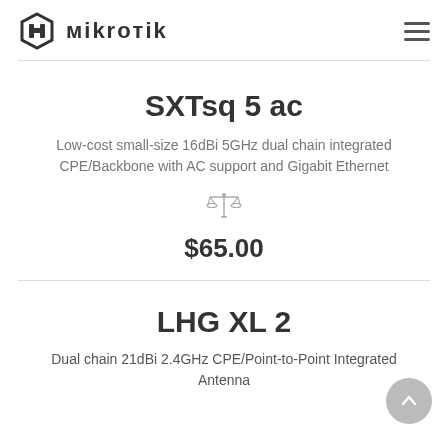MikroTik
SXTsq 5 ac
Low-cost small-size 16dBi 5GHz dual chain integrated CPE/Backbone with AC support and Gigabit Ethernet
$65.00
LHG XL 2
Dual chain 21dBi 2.4GHz CPE/Point-to-Point Integrated Antenna